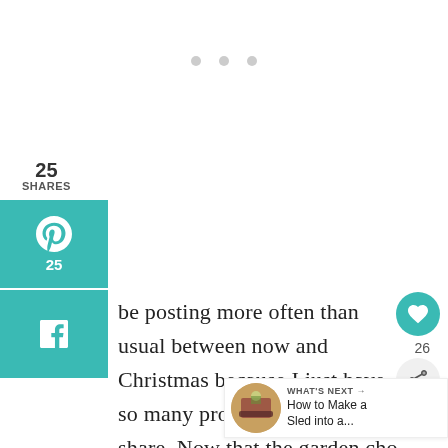[Figure (other): Three grey dots (loading/carousel indicator) centered near top of page]
25
SHARES
[Figure (other): Pinterest share button (teal/turquoise) with P icon and count 25]
[Figure (other): Facebook share button (teal/turquoise) with f icon]
be posting more often than usual between now and Christmas because I just have so many projects I want to share. Now that the garden cho put to bed for the season, there's more
[Figure (other): Heart/like button (teal circle) on right side]
26
[Figure (other): Share button (grey circle with share icon) on right side]
[Figure (other): What's Next panel with thumbnail and text: How to Make a Sled into a...]